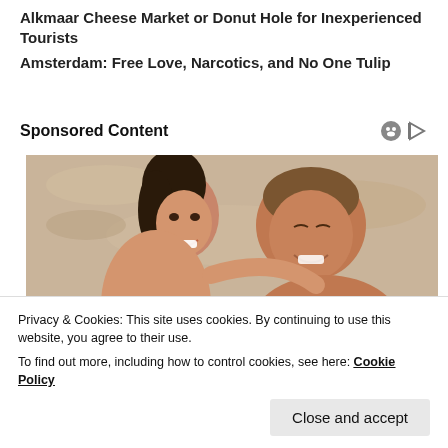Alkmaar Cheese Market or Donut Hole for Inexperienced Tourists
Amsterdam: Free Love, Narcotics, and No One Tulip
Sponsored Content
[Figure (photo): Two people smiling on a beach — a young woman with dark hair and an older man, both appearing to be lying on sand.]
Privacy & Cookies: This site uses cookies. By continuing to use this website, you agree to their use.
To find out more, including how to control cookies, see here: Cookie Policy
Close and accept